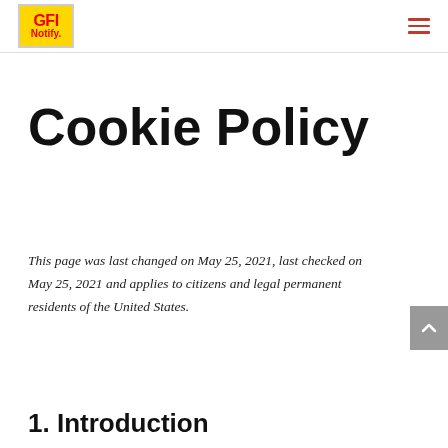GFI Notify logo and navigation menu
Cookie Policy
This page was last changed on May 25, 2021, last checked on May 25, 2021 and applies to citizens and legal permanent residents of the United States.
1. Introduction